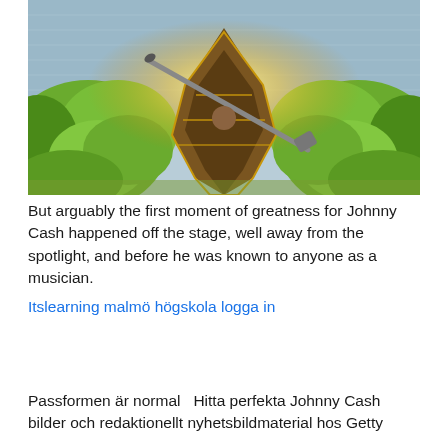[Figure (photo): A canoe seen from the front, glowing with golden sunset light, surrounded by green foliage bushes on both sides, with a paddle resting across it and water in the background.]
But arguably the first moment of greatness for Johnny Cash happened off the stage, well away from the spotlight, and before he was known to anyone as a musician.
Itslearning malmö högskola logga in
Passformen är normal  Hitta perfekta Johnny Cash bilder och redaktionellt nyhetsbildmaterial hos Getty